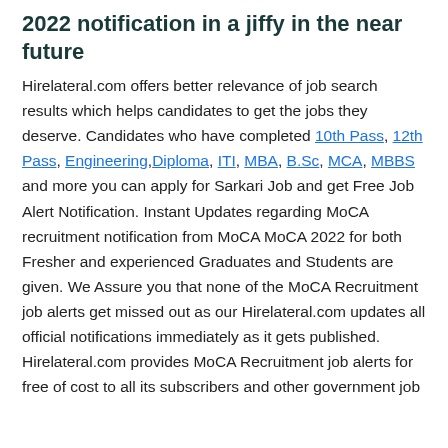2022 notification in a jiffy in the near future
Hirelateral.com offers better relevance of job search results which helps candidates to get the jobs they deserve. Candidates who have completed 10th Pass, 12th Pass, Engineering, Diploma, ITI, MBA, B.Sc, MCA, MBBS and more you can apply for Sarkari Job and get Free Job Alert Notification. Instant Updates regarding MoCA recruitment notification from MoCA MoCA 2022 for both Fresher and experienced Graduates and Students are given. We Assure you that none of the MoCA Recruitment job alerts get missed out as our Hirelateral.com updates all official notifications immediately as it gets published. Hirelateral.com provides MoCA Recruitment job alerts for free of cost to all its subscribers and other government job